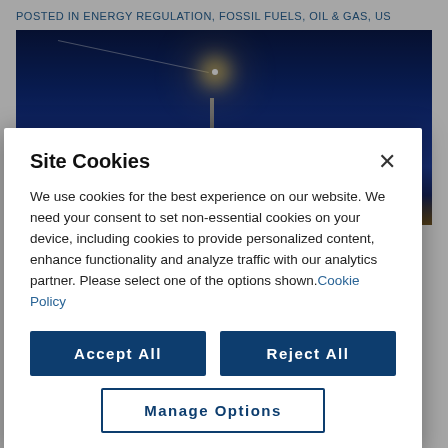POSTED IN ENERGY REGULATION, FOSSIL FUELS, OIL & GAS, US
[Figure (photo): Night photograph of an oil drilling rig tower illuminated against a dark blue sky, with a light trail visible in the background and industrial lighting at the base.]
Site Cookies
We use cookies for the best experience on our website. We need your consent to set non-essential cookies on your device, including cookies to provide personalized content, enhance functionality and analyze traffic with our analytics partner. Please select one of the options shown.Cookie Policy
Accept All
Reject All
Manage Options
federal public lands and federal offshore waters, but